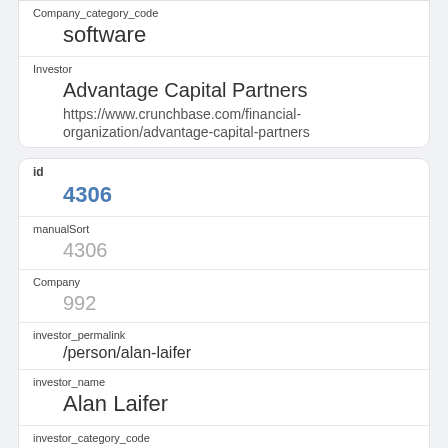Company_category_code
software
Investor
Advantage Capital Partners
https://www.crunchbase.com/financial-organization/advantage-capital-partners
id
4306
manualSort
4306
Company
992
investor_permalink
/person/alan-laifer
investor_name
Alan Laifer
investor_category_code
investor_country_code